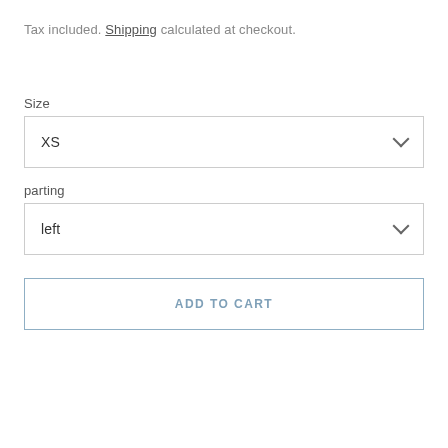Tax included. Shipping calculated at checkout.
Size
XS
parting
left
ADD TO CART